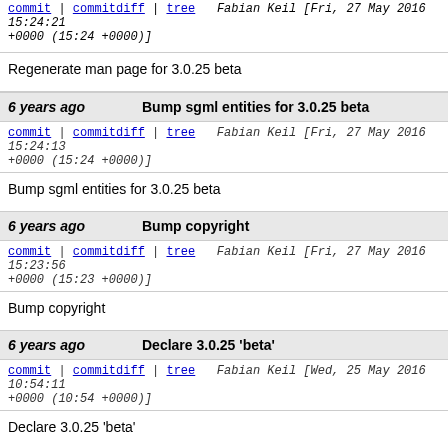commit | commitdiff | tree   Fabian Keil [Fri, 27 May 2016 15:24:21 +0000 (15:24 +0000)]
Regenerate man page for 3.0.25 beta
6 years ago   Bump sgml entities for 3.0.25 beta
commit | commitdiff | tree   Fabian Keil [Fri, 27 May 2016 15:24:13 +0000 (15:24 +0000)]
Bump sgml entities for 3.0.25 beta
6 years ago   Bump copyright
commit | commitdiff | tree   Fabian Keil [Fri, 27 May 2016 15:23:56 +0000 (15:23 +0000)]
Bump copyright
6 years ago   Declare 3.0.25 'beta'
commit | commitdiff | tree   Fabian Keil [Wed, 25 May 2016 10:54:11 +0000 (10:54 +0000)]
Declare 3.0.25 'beta'
6 years ago   prepare_csp_for_next_request(): Use the global toggle state for new requests